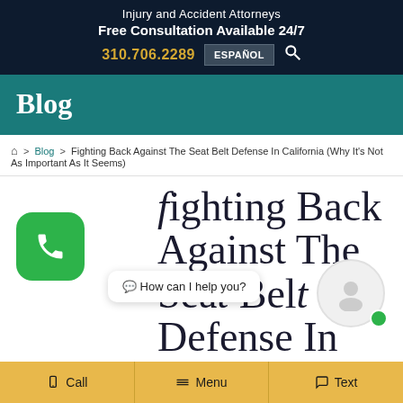Injury and Accident Attorneys
Free Consultation Available 24/7
310.706.2289  ESPAÑOL
Blog
⌂ > Blog > Fighting Back Against The Seat Belt Defense In California (Why It's Not As Important As It Seems)
Fighting Back Against The Seat Belt Defense In California (Why It's Not
Call  Menu  Text